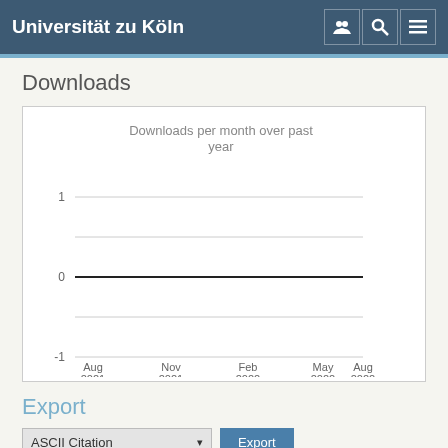Universität zu Köln
Downloads
[Figure (line-chart): Downloads per month over past year]
Export
ASCII Citation  Export